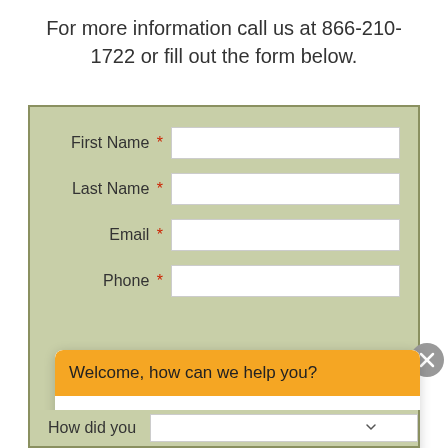For more information call us at 866-210-1722 or fill out the form below.
[Figure (screenshot): A contact form with fields for First Name, Last Name, Email, Phone, and How did you (dropdown), on a sage green background. A chat popup overlay is visible with orange header 'Welcome, how can we help you?' and a message input area reading 'Write your message...' A close/X button appears on the right side.]